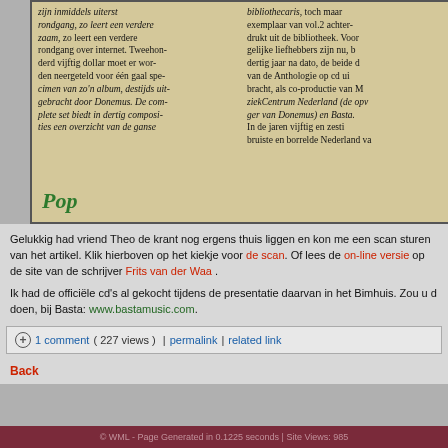[Figure (photo): Scanned newspaper clipping showing two columns of Dutch text about a music album, with 'Pop' label in green italic font at the bottom left of the clipping]
Gelukkig had vriend Theo de krant nog ergens thuis liggen en kon me een scan sturen van het artikel. Klik hierboven op het kiekje voor de scan. Of lees de on-line versie op de site van de schrijver Frits van der Waa .
Ik had de officiële cd's al gekocht tijdens de presentatie daarvan in het Bimhuis. Zou u dat ook willen doen, bij Basta: www.bastamusic.com.
1 comment ( 227 views )  |  permalink  |  related link
Back
© WML - Page Generated in 0.1225 seconds | Site Views: 985